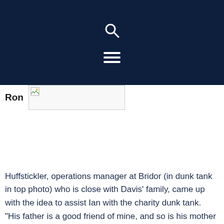Ron
[Figure (photo): Broken image placeholder next to 'Ron' label]
Huffstickler, operations manager at Bridor (in dunk tank in top photo) who is close with Davis' family, came up with the idea to assist Ian with the charity dunk tank.
“His father is a good friend of mine, and so is his mother (Anthony and Gina Davis),” Huffstickler said. “I